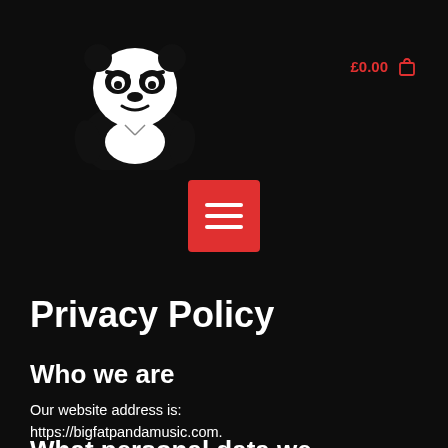[Figure (logo): Big Fat Panda Music logo — stylized black and white panda character with an angry/stern expression, wearing a black outfit, on a black background]
£0.00  🛒
[Figure (other): Red square hamburger menu button with three white horizontal lines]
Privacy Policy
Who we are
Our website address is: https://bigfatpandamusic.com.
What personal data we